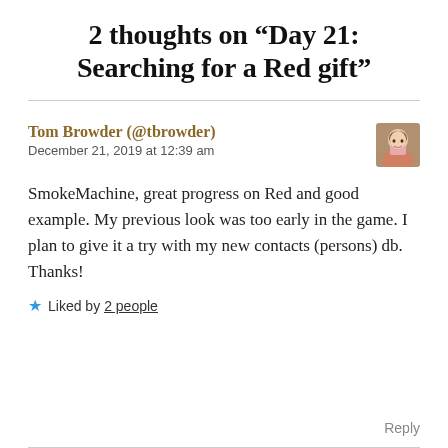2 thoughts on “Day 21: Searching for a Red gift”
Tom Browder (@tbrowder)
December 21, 2019 at 12:39 am
SmokeMachine, great progress on Red and good example. My previous look was too early in the game. I plan to give it a try with my new contacts (persons) db. Thanks!
★ Liked by 2 people
Reply